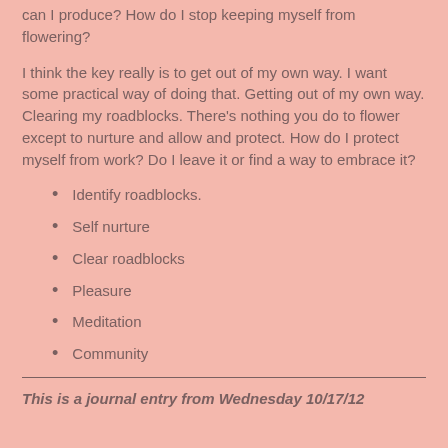can I produce? How do I stop keeping myself from flowering?
I think the key really is to get out of my own way. I want some practical way of doing that. Getting out of my own way. Clearing my roadblocks. There's nothing you do to flower except to nurture and allow and protect. How do I protect myself from work? Do I leave it or find a way to embrace it?
Identify roadblocks.
Self nurture
Clear roadblocks
Pleasure
Meditation
Community
This is a journal entry from Wednesday 10/17/12